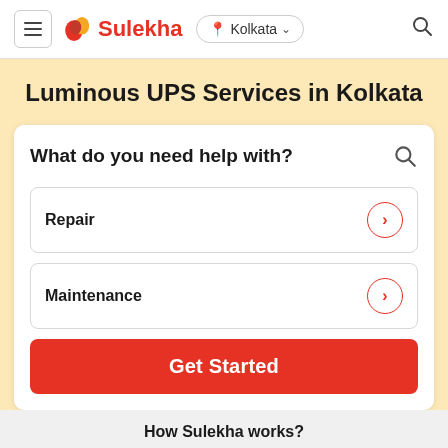Sulekha — Kolkata
Luminous UPS Services in Kolkata
What do you need help with?
Repair
Maintenance
Get Started
How Sulekha works?
1 — Share your
2 — Get Multiple
3 — Compare, Hire & Get